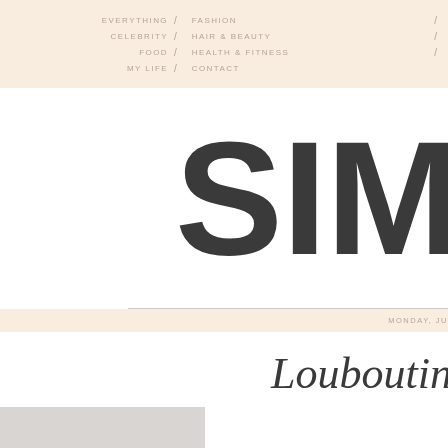EVERYTHING / FASHION / CELEBRITY / HAIR & BEAUTY / FOOD / HEALTH & FITNESS / MY LIFE / CONTACT
SIM
MONDAY, JU
Louboutin